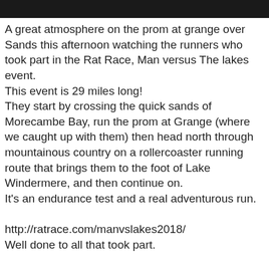[Figure (other): Black header bar at top of page]
A great atmosphere on the prom at grange over Sands this afternoon watching the runners who took part in the Rat Race, Man versus The lakes event.
This event is 29 miles long!
They start by crossing the quick sands of Morecambe Bay, run the prom at Grange (where we caught up with them) then head north through mountainous country on a rollercoaster running route that brings them to the foot of Lake Windermere, and then continue on.
It's an endurance test and a real adventurous run.

http://ratrace.com/manvslakes2018/
Well done to all that took part.